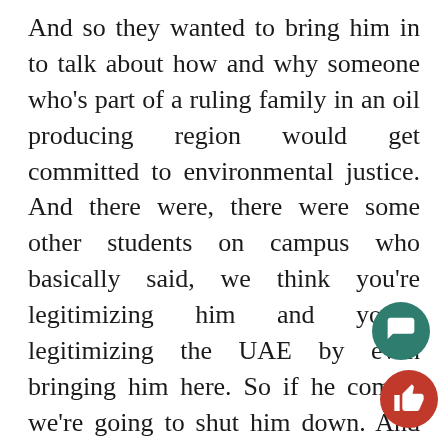And so they wanted to bring him in to talk about how and why someone who's part of a ruling family in an oil producing region would get committed to environmental justice. And there were, there were some other students on campus who basically said, we think you're legitimizing him and you're legitimizing the UAE by even bringing him here. So if he comes, we're going to shut him down. And there were threats of throwing shoes and doing other things. And what finally had ended up happening was he just withdrew. And I think it was a really disturbing experience for the students who tried to organize it. I think at the end of the day they just decided, this isn't worth it. You know, we don't, we don't want to be in the middle of a, of a violent controversy or something that involves throwing objects. And I thought that was